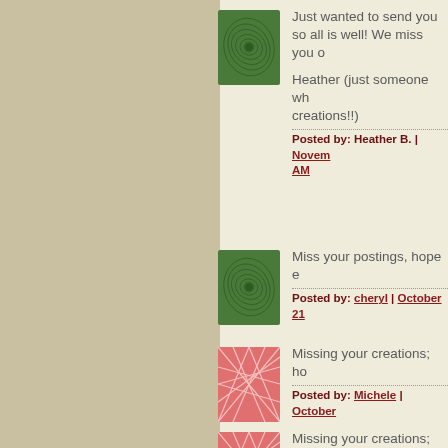[Figure (illustration): Green spiral/swirl pattern avatar thumbnail]
Just wanted to send you so all is well! We miss you o
Heather (just someone wh creations!!)
Posted by: Heather B. | Novem AM
[Figure (illustration): Green spiral/swirl pattern avatar thumbnail]
Miss your postings, hope e
Posted by: cheryl | October 21
[Figure (illustration): Pink/red geometric pattern avatar thumbnail]
Missing your creations; ho
Posted by: Michele | October
[Figure (illustration): Pink/red geometric pattern avatar thumbnail]
Missing your creations; ho
Posted by: Michele | October